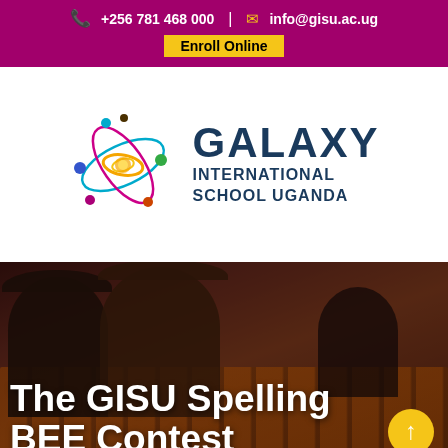+256 781 468 000 | info@gisu.ac.ug
Enroll Online
[Figure (logo): Galaxy International School Uganda logo — circular orbit design with colorful dots and swirl, beside bold dark blue text reading GALAXY INTERNATIONAL SCHOOL UGANDA]
[Figure (photo): Audience seated in orange/red chairs in a dark auditorium, viewed from the front, with silhouettes of people in the foreground and background]
The GISU Spelling BEE Contest